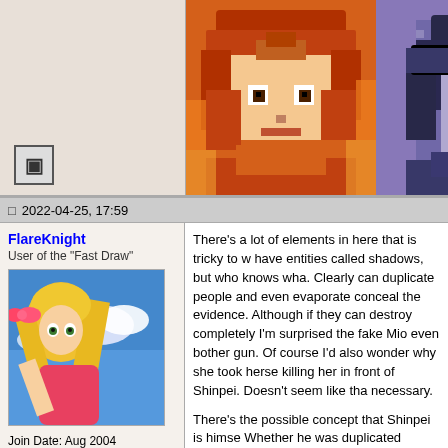[Figure (illustration): Pixel art character with orange/brown hair on orange background (top left of image area)]
[Figure (illustration): Pixel art character with dark hair on purple/blue background (top right of image area)]
2022-04-25, 17:59
FlareKnight
User of the "Fast Draw"
[Figure (illustration): Anime avatar image of a blonde girl against blue sky background]
Join Date: Aug 2004
Location: Canada
There's a lot of elements in here that is tricky to w have entities called shadows, but who knows wha. Clearly can duplicate people and even evaporate conceal the evidence. Although if they can destroy completely I'm surprised the fake Mio even bother gun. Of course I'd also wonder why she took hers killing her in front of Shinpei. Doesn't seem like th necessary.

There's the possible concept that Shinpei is himse Whether he was duplicated during the funeral, I'm hard to imagine since fake Mio was glowing pretty making that duplicate. Even if it was during the da someone glowing like that would be tough. Clearly happened though. No one was obviously taking p